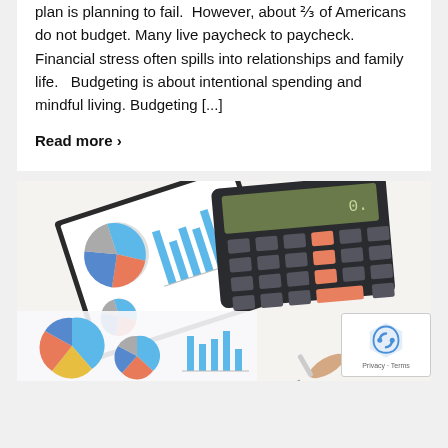plan is planning to fail.  However, about ⅔ of Americans do not budget. Many live paycheck to paycheck. Financial stress often spills into relationships and family life.   Budgeting is about intentional spending and mindful living. Budgeting [...]
Read more ›
[Figure (photo): A photo of financial charts (pie charts and bar charts) on paper with a calculator, and a hand holding a pen reviewing financial reports, with blue and orange color scheme.]